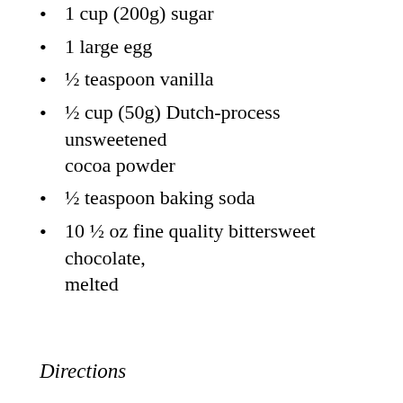1½ sticks (¾ cup) unsalted butter softened
1 cup (200g) sugar
1 large egg
½ teaspoon vanilla
½ cup (50g) Dutch-process unsweetened cocoa powder
½ teaspoon baking soda
10 ½ oz fine quality bittersweet chocolate, melted
Directions